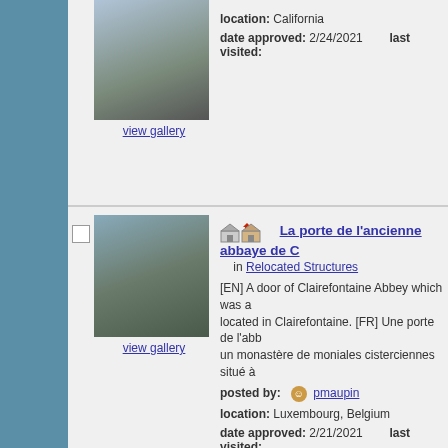[Figure (photo): Stone steps/entrance with railings, California]
view gallery
location: California
date approved: 2/24/2021   last visited:
[Figure (photo): Stone archway gate of Clairefontaine Abbey]
view gallery
La porte de l'ancienne abbaye de C...
in Relocated Structures
[EN] A door of Clairefontaine Abbey which was a... located in Clairefontaine. [FR] Une porte de l'abb... un monastère de moniales cisterciennes situé à...
posted by: pmaupin
location: Luxembourg, Belgium
date approved: 2/21/2021   last visited:
[Figure (photo): Stone portal/tower of old Saint Martin church]
Portail de l'ancienne église Saint M...
in Relocated Structures
[EN] The portal of the church of the old Saint Ma... was moved to the foot of the hill of Saint-Donat. l'ancienne église Saint Martin, seule partie class... butte de Saint-Donat.